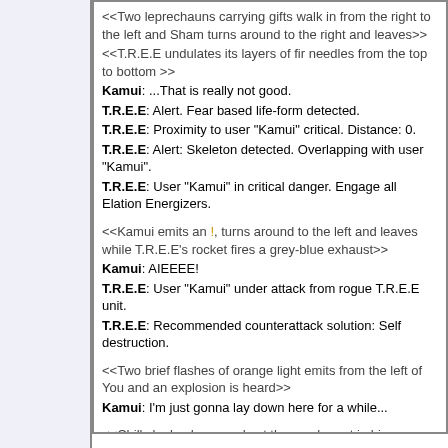<<Two leprechauns carrying gifts walk in from the right to the left and Sham turns around to the right and leaves>>
<<T.R.E.E undulates its layers of fir needles from the top to bottom >>
Kamui: ...That is really not good.
T.R.E.E: Alert. Fear based life-form detected.
T.R.E.E: Proximity to user "Kamui" critical. Distance: 0.
T.R.E.E: Alert: Skeleton detected. Overlapping with user "Kamui".
T.R.E.E: User "Kamui" in critical danger. Engage all Elation Energizers.
<<Kamui emits an !, turns around to the left and leaves while T.R.E.E's rocket fires a grey-blue exhaust>>
Kamui: AIEEEE!
T.R.E.E: User "Kamui" under attack from rogue T.R.E.E unit.
T.R.E.E: Recommended counterattack solution: Self destruction.
<<Two brief flashes of orange light emits from the left of You and an explosion is heard>>
Kamui: I'm just gonna lay down here for a while...
<<Chilly looks downwards at the parchment in his hands>>
Chilly: I'm still counting some missing presents, but at least Zorbak has been behaving himself for once...
<<You>>: ...Zorbak?
<<The right stick arm of the snowmoglin twitches and falls to the snow covered ground>>
Chilly: *gasp* That's not Zorbak!
<<You>>: ...I'm just going to assume he did the usual thing and go find him.
<<You walk in from the left into a graveyard outside of